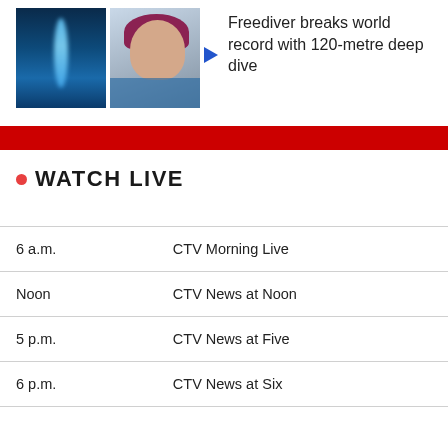[Figure (photo): Two thumbnail images: left shows a freediver underwater with blue glowing light, right shows a person in water. A blue play button triangle is visible between the images.]
Freediver breaks world record with 120-metre deep dive
[Figure (other): Red horizontal banner bar]
WATCH LIVE
| Time | Show |
| --- | --- |
| 6 a.m. | CTV Morning Live |
| Noon | CTV News at Noon |
| 5 p.m. | CTV News at Five |
| 6 p.m. | CTV News at Six |